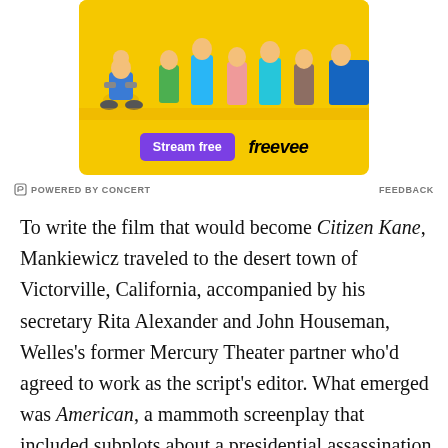[Figure (other): Advertisement banner with yellow background showing cartoon characters, a purple 'Stream free' button, and 'freevee' logo]
POWERED BY CONCERT   FEEDBACK
To write the film that would become Citizen Kane, Mankiewicz traveled to the desert town of Victorville, California, accompanied by his secretary Rita Alexander and John Houseman, Welles's former Mercury Theater partner who'd agreed to work as the script's editor. What emerged was American, a mammoth screenplay that included subplots about a presidential assassination attempt and Kane's son joining a fascist movement as well as a group of H...